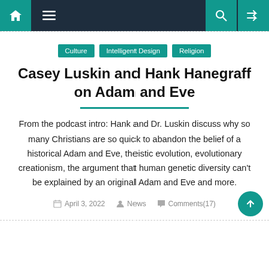Navigation bar with home, menu, search, and shuffle icons
Culture
Intelligent Design
Religion
Casey Luskin and Hank Hanegraff on Adam and Eve
From the podcast intro: Hank and Dr. Luskin discuss why so many Christians are so quick to abandon the belief of a historical Adam and Eve, theistic evolution, evolutionary creationism, the argument that human genetic diversity can't be explained by an original Adam and Eve and more.
April 3, 2022   News   Comments(17)